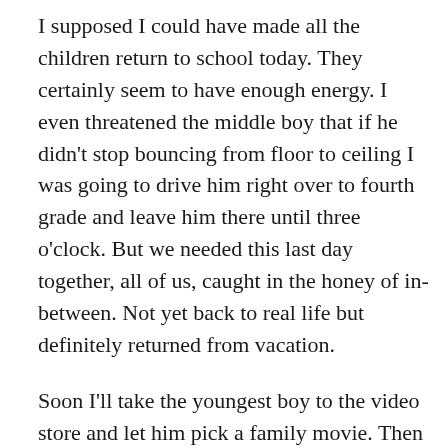I supposed I could have made all the children return to school today. They certainly seem to have enough energy. I even threatened the middle boy that if he didn't stop bouncing from floor to ceiling I was going to drive him right over to fourth grade and leave him there until three o'clock. But we needed this last day together, all of us, caught in the honey of in-between. Not yet back to real life but definitely returned from vacation.
Soon I'll take the youngest boy to the video store and let him pick a family movie. Then we'll stop at the farm to pick up our weekly allotment. Then we'll come right back home and cook a dinner everyone will eat (which means it will be hamburgers or pasta) and have Family Movie Picnic, which is what we call it when I'm too tired to insist we all eat at the table. Bedtimes will be early and everyone will have a bath beforehand. M and I are due some of our own